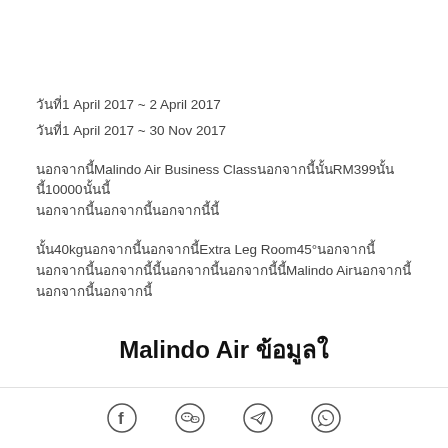วันที่1 April 2017 ~ 2 April 2017
วันที่1 April 2017 ~ 30 Nov 2017
นอกจากนี้Malindo Air Business Classนอกจากนี้นั้นRM399นอกจากนั้น10000นั้นนอกจากนี้นอกจากนี้นอกจากนี้นี้
นั้น40kgนอกจากนี้นอกจากนี้Extra Leg Room45°นอกจากนี้นอกจากนี้นอกจากนี้นี้นอกจากนี้นอกจากMalindo Airนอกจากนี้นอกจากนี้
Malindo Air ข้อมูลบัตร